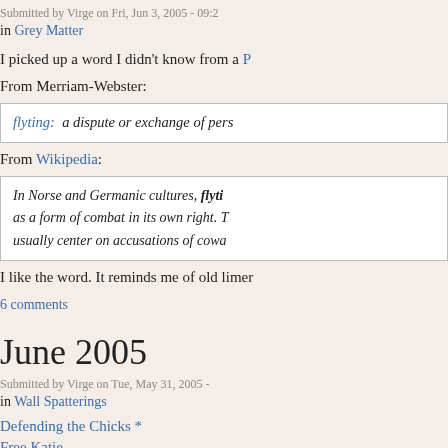Submitted by Virge on Fri, Jun 3, 2005 - 09:2
in Grey Matter
I picked up a word I didn't know from a P
From Merriam-Webster:
flyting:  a dispute or exchange of pers
From Wikipedia:
In Norse and Germanic cultures, flyti... as a form of combat in its own right. T... usually center on accusations of cowa
I like the word. It reminds me of old limer
6 comments
June 2005
Submitted by Virge on Tue, May 31, 2005 -
in Wall Spatterings
Defending the Chicks *
Free Katie